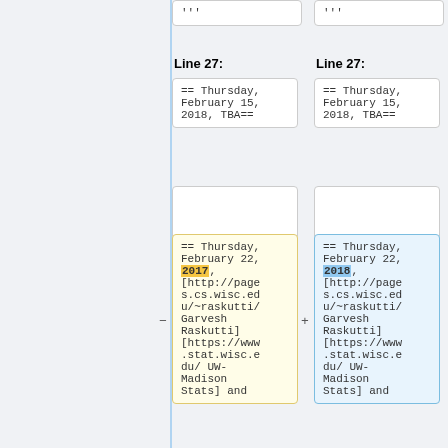...
...
Line 27:
Line 27:
== Thursday, February 15, 2018, TBA==
== Thursday, February 15, 2018, TBA==
== Thursday, February 22, 2017, [http://pages.cs.wisc.edu/~raskutti/Garvesh Raskutti] [https://www.stat.wisc.edu/ UW-Madison Stats] and
== Thursday, February 22, 2018, [http://pages.cs.wisc.edu/~raskutti/Garvesh Raskutti] [https://www.stat.wisc.edu/ UW-Madison Stats] and